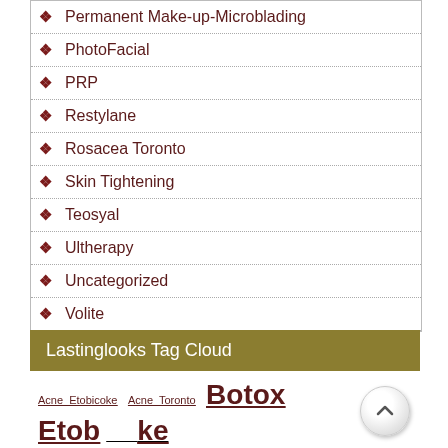Permanent Make-up-Microblading
PhotoFacial
PRP
Restylane
Rosacea Toronto
Skin Tightening
Teosyal
Ultherapy
Uncategorized
Volite
Lastinglooks Tag Cloud
Acne Etobicoke  Acne Toronto  Botox Etobicoke  Botox Toronto  Brown Spots Etobicoke  Brown spots